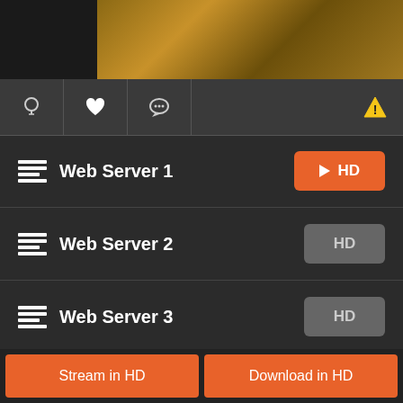[Figure (photo): Top banner showing a blurred outdoor/nature background image in warm brown tones]
[Figure (screenshot): Toolbar with lightbulb icon, heart icon, chat bubble icon, and a yellow warning triangle icon on the right]
Web Server 1 — HD (orange active play button)
Web Server 2 — HD (gray button)
Web Server 3 — HD (gray button)
Pre Server X — XOXO (gray button)
Stream in HD
Download in HD